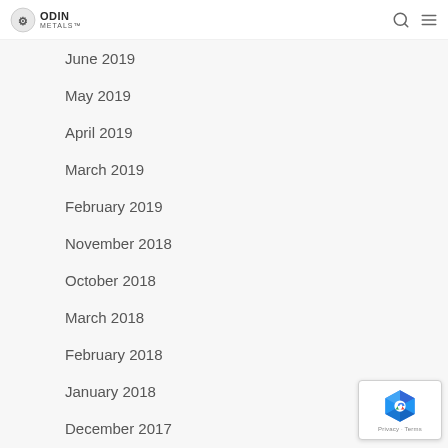ODIN METALS
June 2019
May 2019
April 2019
March 2019
February 2019
November 2018
October 2018
March 2018
February 2018
January 2018
December 2017
October 2017